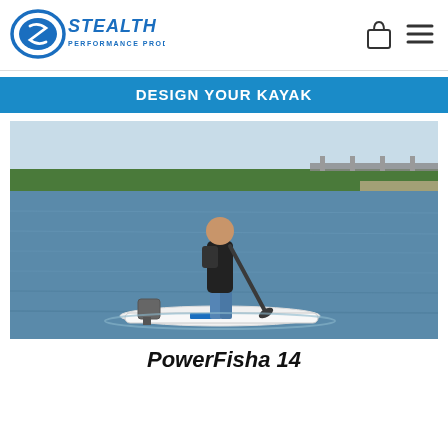[Figure (logo): Stealth Performance Products logo with stylized S wave icon and italic bold text]
[Figure (infographic): Shopping bag icon and hamburger menu icon in top right navigation]
DESIGN YOUR KAYAK
[Figure (photo): Man standing on a white kayak with a motor, paddling on a lake with a bridge and trees in the background]
PowerFisha 14